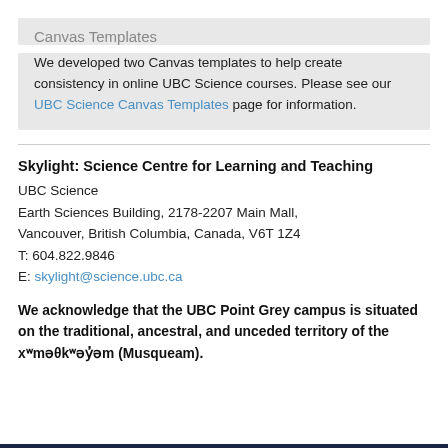Canvas Templates
We developed two Canvas templates to help create consistency in online UBC Science courses. Please see our UBC Science Canvas Templates page for information.
Skylight: Science Centre for Learning and Teaching
UBC Science
Earth Sciences Building, 2178-2207 Main Mall,
Vancouver, British Columbia, Canada, V6T 1Z4
T: 604.822.9846
E: skylight@science.ubc.ca
We acknowledge that the UBC Point Grey campus is situated on the traditional, ancestral, and unceded territory of the xʷməθkʷəy̓əm (Musqueam).